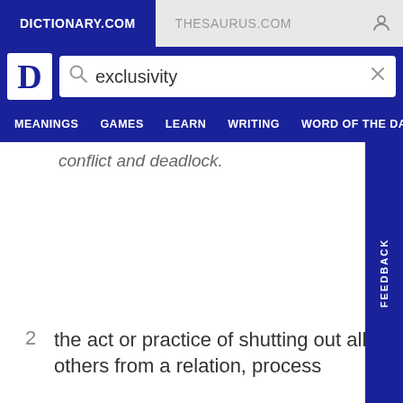DICTIONARY.COM | THESAURUS.COM
exclusivity
MEANINGS   GAMES   LEARN   WRITING   WORD OF THE DAY
conflict and deadlock.
2  the act or practice of shutting out all others from a relation, process